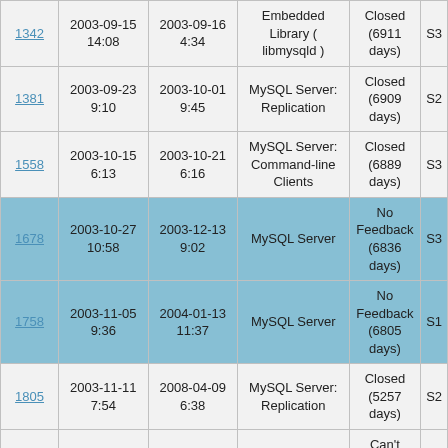| 1342 | 2003-09-15 14:08 | 2003-09-16 4:34 | Embedded Library ( libmysqld ) | Closed (6911 days) | S3 |
| 1381 | 2003-09-23 9:10 | 2003-10-01 9:45 | MySQL Server: Replication | Closed (6909 days) | S2 |
| 1558 | 2003-10-15 6:13 | 2003-10-21 6:16 | MySQL Server: Command-line Clients | Closed (6889 days) | S3 |
| 1678 | 2003-10-27 10:58 | 2003-12-13 9:02 | MySQL Server | No Feedback (6836 days) | S3 |
| 1758 | 2003-11-05 9:36 | 2004-01-13 11:37 | MySQL Server | No Feedback (6805 days) | S1 |
| 1805 | 2003-11-11 7:54 | 2008-04-09 6:38 | MySQL Server: Replication | Closed (5257 days) | S2 |
| 1844 | 2003-11-15 15:14 | 2003-11-17 7:28 | MySQL Server: InnoDB | Can't repeat (6862 days) | S3 |